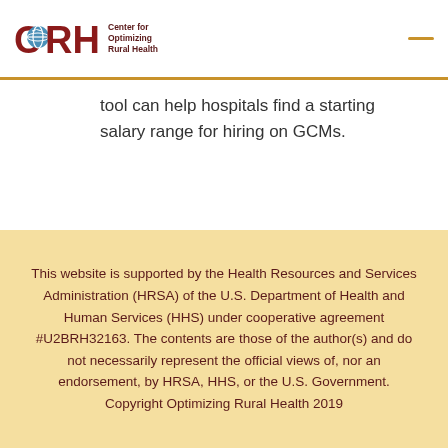CORH Center for Optimizing Rural Health
tool can help hospitals find a starting salary range for hiring on GCMs.
This website is supported by the Health Resources and Services Administration (HRSA) of the U.S. Department of Health and Human Services (HHS) under cooperative agreement #U2BRH32163. The contents are those of the author(s) and do not necessarily represent the official views of, nor an endorsement, by HRSA, HHS, or the U.S. Government. Copyright Optimizing Rural Health 2019